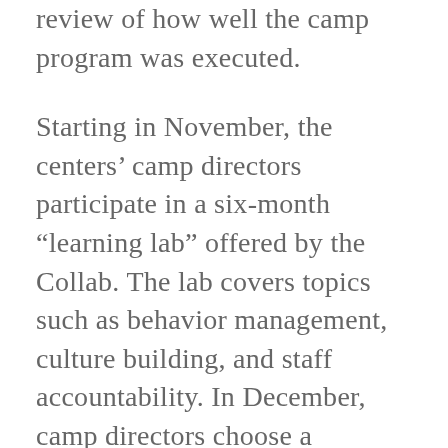review of how well the camp program was executed.
Starting in November, the centers' camp directors participate in a six-month “learning lab” offered by the Collab. The lab covers topics such as behavior management, culture building, and staff accountability. In December, camp directors choose a curriculum director from a group of teachers screened by the Collab. December through May, the camp director and curriculum director plan the site’s summer offerings, develop plans for behavior management and staff training, and take care of other details essential to running a successful camp. In February, camp directors and curriculum directors choose instructional